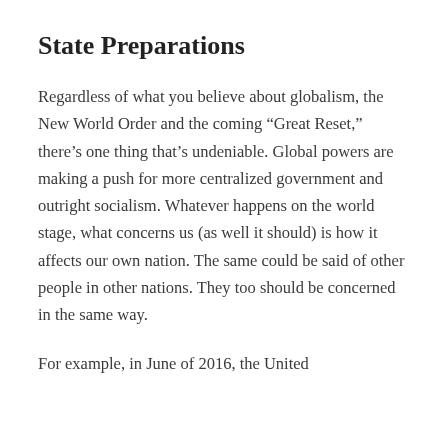State Preparations
Regardless of what you believe about globalism, the New World Order and the coming “Great Reset,” there’s one thing that’s undeniable. Global powers are making a push for more centralized government and outright socialism. Whatever happens on the world stage, what concerns us (as well it should) is how it affects our own nation. The same could be said of other people in other nations. They too should be concerned in the same way.
For example, in June of 2016, the United